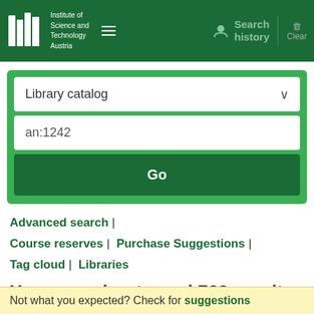Institute of Science and Technology Austria — Search history | Clear
[Figure (screenshot): ISTA library catalog search interface with dropdown set to 'Library catalog', search field containing 'an:1242', and a Go button]
Advanced search | Course reserves | Purchase Suggestions | Tag cloud | Libraries
Your search returned 760 results.
[Figure (other): RSS feed icon]
Not what you expected? Check for suggestions